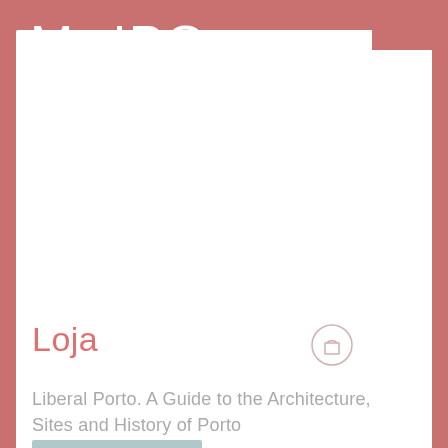MMIPO
MUSEU E IGREJA DA MISERICÓRDIA DO PORTO
MISERICÓRDIA DO PORTO MUSEUM AND CHURCH
Loja
Liberal Porto. A Guide to the Architecture, Sites and History of Porto